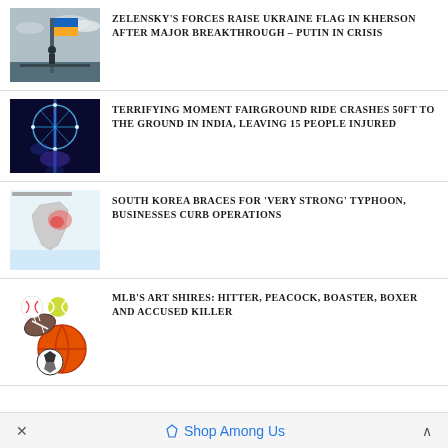[Figure (photo): Person raising a Ukrainian flag on a structure, with cloudy sky background]
ZELENSKY'S FORCES RAISE UKRAINE FLAG IN KHERSON AFTER MAJOR BREAKTHROUGH – PUTIN IN CRISIS
[Figure (photo): Blue glowing fairground ride at night]
TERRIFYING MOMENT FAIRGROUND RIDE CRASHES 50FT TO THE GROUND IN INDIA, LEAVING 15 PEOPLE INJURED
[Figure (map): Map of South Korea with weather/typhoon indicators]
SOUTH KOREA BRACES FOR 'VERY STRONG' TYPHOON, BUSINESSES CURB OPERATIONS
[Figure (illustration): Collection of sports balls: baseball, football, tennis ball, basketball, soccer ball]
MLB'S ART SHIRES: HITTER, PEACOCK, BOASTER, BOXER AND ACCUSED KILLER
× Shop Among Us ^